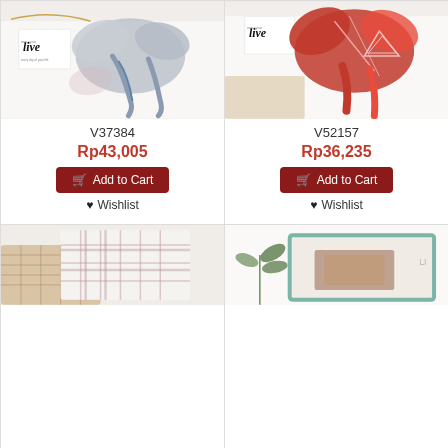[Figure (photo): Gray/silver silk scarf tied in a bow, displayed on white surface with 'live' branded box and gold jewelry]
V37384
Rp43,005
Add to Cart
Wishlist
[Figure (photo): Red patterned silk scarf tied in a bow, displayed on white surface with 'live' branded box]
V52157
Rp36,235
Add to Cart
Wishlist
[Figure (photo): Beige/plaid scarf draped over woven basket, on white background]
[Figure (photo): Folded scarf with teal border and botanical greenery beside it]